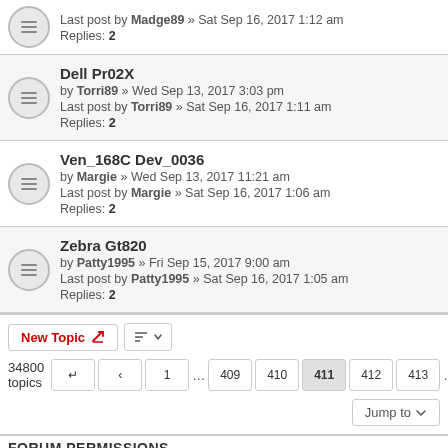Last post by Madge89 » Sat Sep 16, 2017 1:12 am
Replies: 2
Dell Pr02X
by Torri89 » Wed Sep 13, 2017 3:03 pm
Last post by Torri89 » Sat Sep 16, 2017 1:11 am
Replies: 2
Ven_168C Dev_0036
by Margie » Wed Sep 13, 2017 11:21 am
Last post by Margie » Sat Sep 16, 2017 1:06 am
Replies: 2
Zebra Gt820
by Patty1995 » Fri Sep 15, 2017 9:00 am
Last post by Patty1995 » Sat Sep 16, 2017 1:05 am
Replies: 2
34800 topics
New Topic
1 ... 409 410 411 412 413 ... 1392
Jump to
FORUM PERMISSIONS